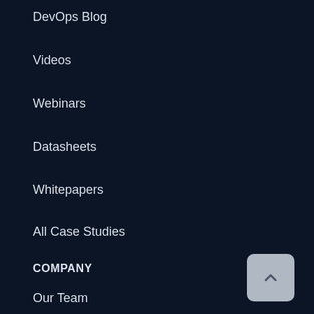DevOps Blog
Videos
Webinars
Datasheets
Whitepapers
All Case Studies
COMPANY
Our Team
Careers
About Us
Partners